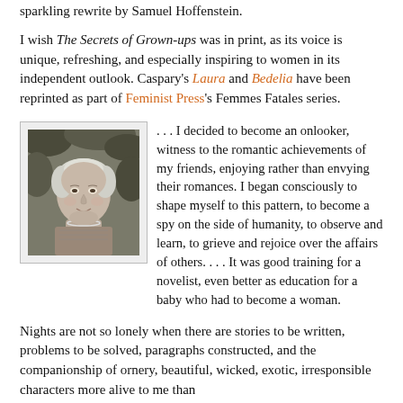sparkling rewrite by Samuel Hoffenstein.
I wish The Secrets of Grown-ups was in print, as its voice is unique, refreshing, and especially inspiring to women in its independent outlook. Caspary's Laura and Bedelia have been reprinted as part of Feminist Press's Femmes Fatales series.
[Figure (photo): Black and white photograph of an elderly woman with short light hair, smiling, wearing a patterned top and pearl necklace, outdoors with foliage in background.]
. . . I decided to become an onlooker, witness to the romantic achievements of my friends, enjoying rather than envying their romances. I began consciously to shape myself to this pattern, to become a spy on the side of humanity, to observe and learn, to grieve and rejoice over the affairs of others. . . . It was good training for a novelist, even better as education for a baby who had to become a woman.
Nights are not so lonely when there are stories to be written, problems to be solved, paragraphs constructed, and the companionship of ornery, beautiful, wicked, exotic, irresponsible characters more alive to me than